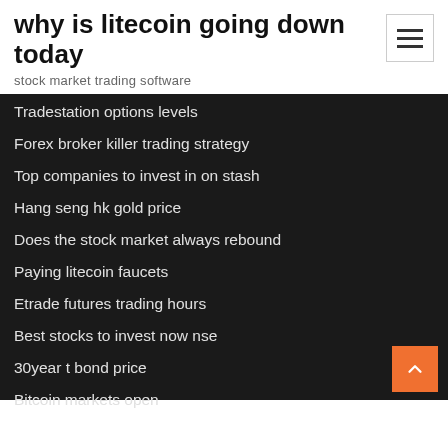why is litecoin going down today
stock market trading software
Tradestation options levels
Forex broker killer trading strategy
Top companies to invest in on stash
Hang seng hk gold price
Does the stock market always rebound
Paying litecoin faucets
Etrade futures trading hours
Best stocks to invest now nse
30year t bond price
Bitcoin markets open